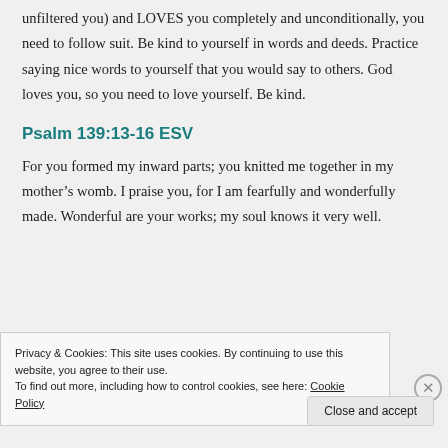unfiltered you) and LOVES you completely and unconditionally, you need to follow suit. Be kind to yourself in words and deeds. Practice saying nice words to yourself that you would say to others. God loves you, so you need to love yourself. Be kind.
Psalm 139:13-16 ESV
For you formed my inward parts; you knitted me together in my mother's womb. I praise you, for I am fearfully and wonderfully made. Wonderful are your works; my soul knows it very well.
Privacy & Cookies: This site uses cookies. By continuing to use this website, you agree to their use. To find out more, including how to control cookies, see here: Cookie Policy
Close and accept